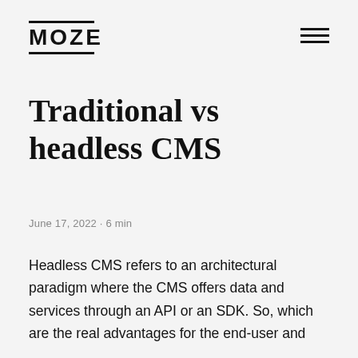MOZE
Traditional vs headless CMS
June 17, 2022 · 6 min
Headless CMS refers to an architectural paradigm where the CMS offers data and services through an API or an SDK. So, which are the real advantages for the end-user and